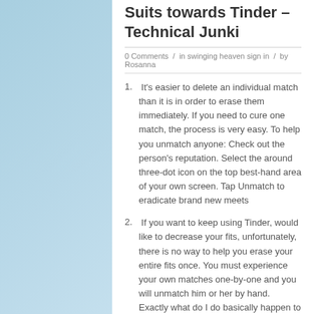Suits towards Tinder – Technical Junki
0 Comments  /  in swinging heaven sign in  /  by Rosanna
It's easier to delete an individual match than it is in order to erase them immediately. If you need to cure one match, the process is very easy. To help you unmatch anyone: Check out the person's reputation. Select the around three-dot icon on the top best-hand area of your own screen. Tap Unmatch to eradicate brand new meets
If you want to keep using Tinder, would like to decrease your fits, unfortunately, there is no way to help you erase your entire fits once. You must experience your own matches one-by-one and you will unmatch him or her by hand. Exactly what do I do basically happen to unmatch individuals? Unfortuitously, it is impossible locate a fit straight back whom you